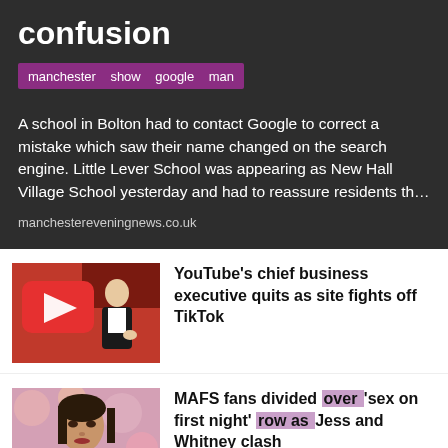confusion
manchester  show  google  man
A school in Bolton had to contact Google to correct a mistake which saw their name changed on the search engine. Little Lever School was appearing as New Hall Village School yesterday and had to reassure residents th…
manchestereveningnews.co.uk
[Figure (photo): Man in suit standing in front of large red YouTube logo/play button backdrop]
YouTube's chief business executive quits as site fights off TikTok
[Figure (photo): Woman with dark hair at an event with floral background]
MAFS fans divided over 'sex on first night' row as Jess and Whitney clash